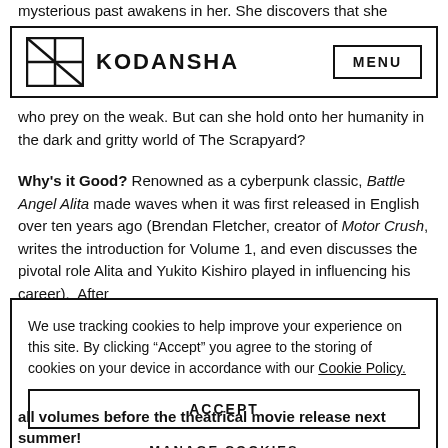mysterious past awakens in her. She discovers that she
[Figure (logo): Kodansha logo with geometric window-pane icon and KODANSHA text, plus MENU button]
who prey on the weak. But can she hold onto her humanity in the dark and gritty world of The Scrapyard?
Why's it Good? Renowned as a cyberpunk classic, Battle Angel Alita made waves when it was first released in English over ten years ago (Brendan Fletcher, creator of Motor Crush, writes the introduction for Volume 1, and even discusses the pivotal role Alita and Yukito Kishiro played in influencing his career).  After
We use tracking cookies to help improve your experience on this site. By clicking “Accept” you agree to the storing of cookies on your device in accordance with our Cookie Policy.
ACCEPT
MANAGE COOKIES
all volumes before the theatrical movie release next summer!